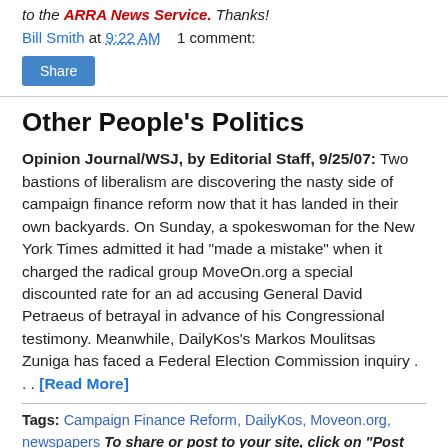to the ARRA News Service. Thanks!
Bill Smith at 9:22 AM    1 comment:
Share
Other People's Politics
Opinion Journal/WSJ, by Editorial Staff, 9/25/07: Two bastions of liberalism are discovering the nasty side of campaign finance reform now that it has landed in their own backyards. On Sunday, a spokeswoman for the New York Times admitted it had "made a mistake" when it charged the radical group MoveOn.org a special discounted rate for an ad accusing General David Petraeus of betrayal in advance of his Congressional testimony. Meanwhile, DailyKos's Markos Moulitsas Zuniga has faced a Federal Election Commission inquiry . . . [Read More]
Tags: Campaign Finance Reform, DailyKos, Moveon.org, newspapers To share or post to your site, click on "Post Link".
Please mention / link to the ARRA News Service. Thanks!